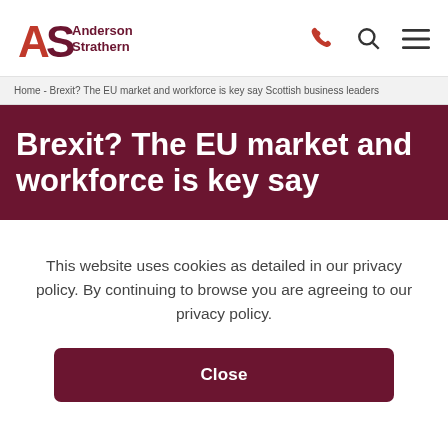Anderson Strathern
Home - Brexit? The EU market and workforce is key say Scottish business leaders
Brexit? The EU market and workforce is key say
This website uses cookies as detailed in our privacy policy. By continuing to browse you are agreeing to our privacy policy.
Close